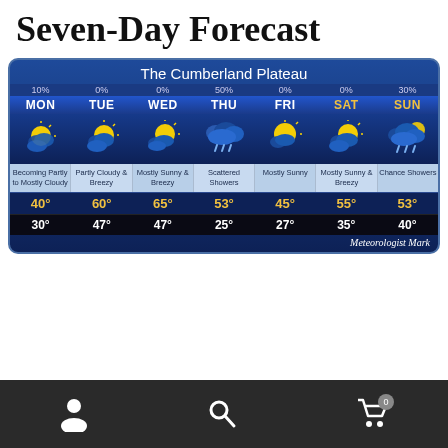Seven-Day Forecast
[Figure (infographic): Seven-day weather forecast for The Cumberland Plateau showing MON through SUN with weather icons, precipitation percentages, descriptions, high and low temperatures. MON: 10%, Becoming Partly to Mostly Cloudy, High 40°, Low 30°. TUE: 0%, Partly Cloudy & Breezy, High 60°, Low 47°. WED: 0%, Mostly Sunny & Breezy, High 65°, Low 47°. THU: 50%, Scattered Showers, High 53°, Low 25°. FRI: 0%, Mostly Sunny, High 45°, Low 27°. SAT: 0%, Mostly Sunny & Breezy, High 55°, Low 35°. SUN: 30%, Chance Showers, High 53°, Low 40°. Credit: Meteorologist Mark]
User icon, Search icon, Cart icon with badge 0